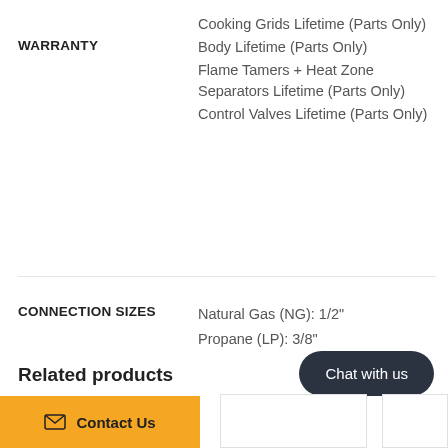WARRANTY
Cooking Grids Lifetime (Parts Only)
Body Lifetime (Parts Only)
Flame Tamers + Heat Zone Separators Lifetime (Parts Only)
Control Valves Lifetime (Parts Only)
CONNECTION SIZES
Natural Gas (NG): 1/2"
Propane (LP): 3/8"
Related products